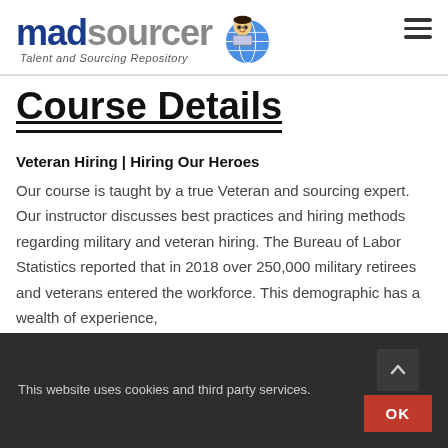[Figure (logo): madsourcer logo with cartoon character and tagline 'Talent and Sourcing Repository']
Course Details
Veteran Hiring | Hiring Our Heroes
Our course is taught by a true Veteran and sourcing expert. Our instructor discusses best practices and hiring methods regarding military and veteran hiring. The Bureau of Labor Statistics reported that in 2018 over 250,000 military retirees and veterans entered the workforce. This demographic has a wealth of experience,
This website uses cookies and third party services.